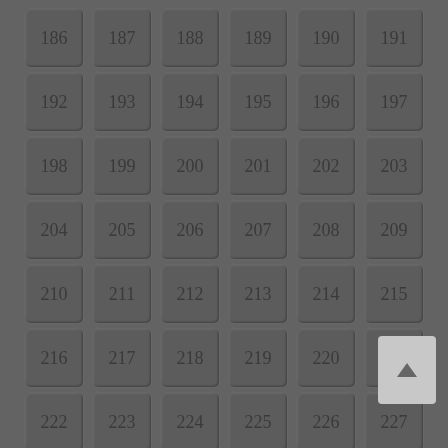[Figure (other): Grid of numbered tiles from 186 to 239, displayed in a dark gray interface with a scroll-to-top button visible in the bottom right area.]